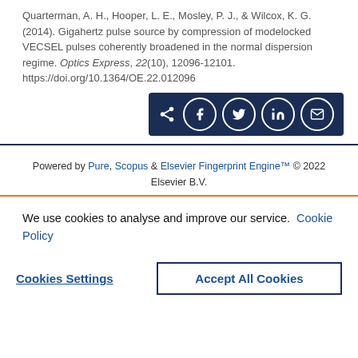Quarterman, A. H., Hooper, L. E., Mosley, P. J., & Wilcox, K. G. (2014). Gigahertz pulse source by compression of modelocked VECSEL pulses coherently broadened in the normal dispersion regime. Optics Express, 22(10), 12096-12101. https://doi.org/10.1364/OE.22.012096
[Figure (other): Social sharing button bar with share, Facebook, Twitter, LinkedIn, and email icons on dark navy background]
Powered by Pure, Scopus & Elsevier Fingerprint Engine™ © 2022 Elsevier B.V.
We use cookies to analyse and improve our service. Cookie Policy
Cookies Settings
Accept All Cookies